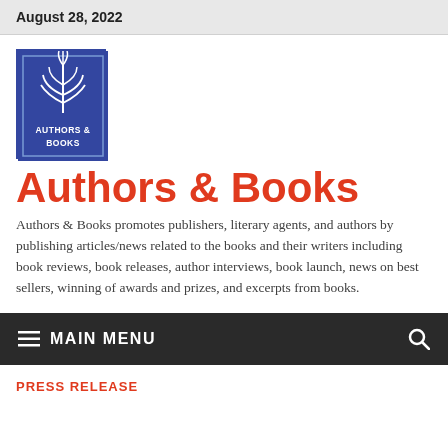August 28, 2022
[Figure (logo): Authors & Books logo: blue square with white leaf/fern graphic and text 'AUTHORS & BOOKS']
Authors & Books
Authors & Books promotes publishers, literary agents, and authors by publishing articles/news related to the books and their writers including book reviews, book releases, author interviews, book launch, news on best sellers, winning of awards and prizes, and excerpts from books.
MAIN MENU
PRESS RELEASE